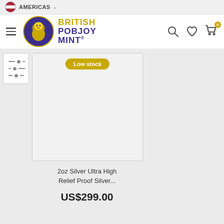AMERICAS
[Figure (logo): British Pobjoy Mint logo with lion badge and gold/purple text]
[Figure (other): Low stock badge on product card with empty product image area]
2oz Silver Ultra High Relief Proof Silver...
US$299.00